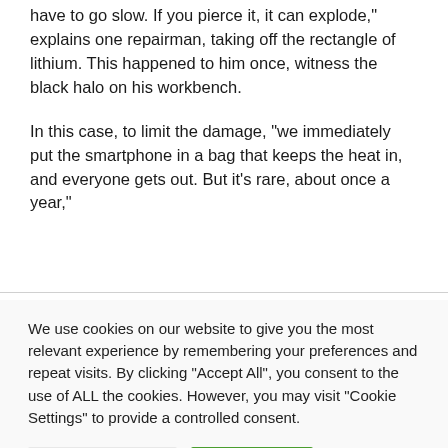have to go slow. If you pierce it, it can explode," explains one repairman, taking off the rectangle of lithium. This happened to him once, witness the black halo on his workbench.
In this case, to limit the damage, "we immediately put the smartphone in a bag that keeps the heat in, and everyone gets out. But it's rare, about once a year,"
We use cookies on our website to give you the most relevant experience by remembering your preferences and repeat visits. By clicking "Accept All", you consent to the use of ALL the cookies. However, you may visit "Cookie Settings" to provide a controlled consent.